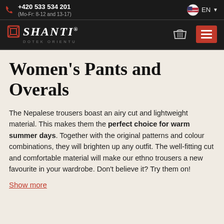+420 533 534 201 (Mo-Fr: 8-12 and 13-17) EN
[Figure (logo): Shanti Dotek Orientu logo with basket and hamburger menu icons on dark background]
Women's Pants and Overals
The Nepalese trousers boast an airy cut and lightweight material. This makes them the perfect choice for warm summer days. Together with the original patterns and colour combinations, they will brighten up any outfit. The well-fitting cut and comfortable material will make our ethno trousers a new favourite in your wardrobe. Don't believe it? Try them on!
Show more